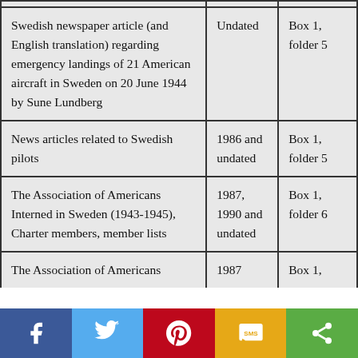|  |  |  |
| --- | --- | --- |
| Swedish newspaper article (and English translation) regarding emergency landings of 21 American aircraft in Sweden on 20 June 1944 by Sune Lundberg | Undated | Box 1, folder 5 |
| News articles related to Swedish pilots | 1986 and undated | Box 1, folder 5 |
| The Association of Americans Interned in Sweden (1943-1945), Charter members, member lists | 1987, 1990 and undated | Box 1, folder 6 |
| The Association of Americans | 1987 | Box 1, |